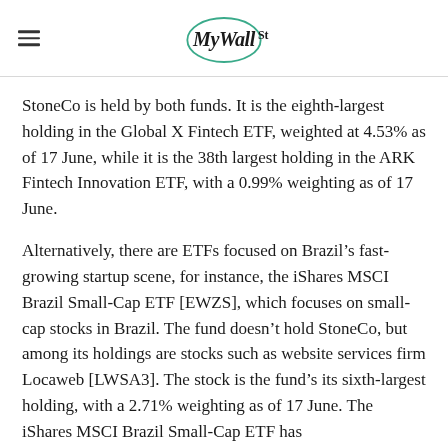MyWallSt
StoneCo is held by both funds. It is the eighth-largest holding in the Global X Fintech ETF, weighted at 4.53% as of 17 June, while it is the 38th largest holding in the ARK Fintech Innovation ETF, with a 0.99% weighting as of 17 June.
Alternatively, there are ETFs focused on Brazil's fast-growing startup scene, for instance, the iShares MSCI Brazil Small-Cap ETF [EWZS], which focuses on small-cap stocks in Brazil. The fund doesn't hold StoneCo, but among its holdings are stocks such as website services firm Locaweb [LWSA3]. The stock is the fund's its sixth-largest holding, with a 2.71% weighting as of 17 June. The iShares MSCI Brazil Small-Cap ETF has